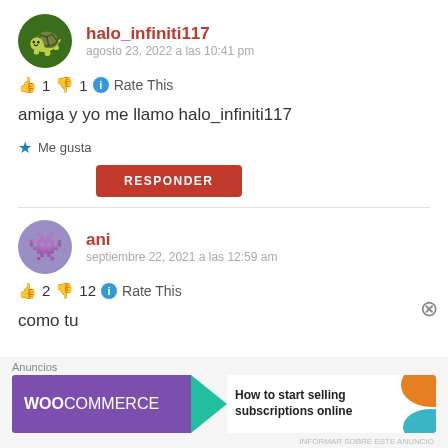[Figure (illustration): Avatar for halo_infiniti117: green circle with cartoon face wearing glasses]
halo_infiniti117
agosto 23, 2022 a las 10:41 pm
👍 1 👎 1 ℹ Rate This
amiga y yo me llamo halo_infiniti117
★ Me gusta
RESPONDER
[Figure (illustration): Avatar for ani: purple circle with cartoon alien/blob face]
ani
septiembre 22, 2021 a las 12:59 am
👍 2 👎 12 ℹ Rate This
como tu
Anuncios
[Figure (screenshot): WooCommerce advertisement banner: purple background with WooCommerce logo and text 'How to start selling subscriptions online']